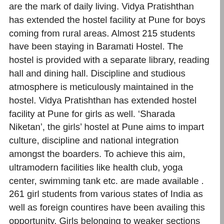are the mark of daily living. Vidya Pratishthan has extended the hostel facility at Pune for boys coming from rural areas. Almost 215 students have been staying in Baramati Hostel. The hostel is provided with a separate library, reading hall and dining hall. Discipline and studious atmosphere is meticulously maintained in the hostel. Vidya Pratishthan has extended hostel facility at Pune for girls as well. ‘Sharada Niketan’, the girls’ hostel at Pune aims to impart culture, discipline and national integration amongst the boarders. To achieve this aim, ultramodern facilities like health club, yoga center, swimming tank etc. are made available . 261 girl students from various states of India as well as foreign countires have been availing this opportunity. Girls belonging to weaker sections of the society are offered boarding and lodging facilities free of charge. Special Scholarship Schemes The poor, meritorious and the needy students are awarded scholarships throughout the year. The students studying in the following institutions are benefited from these scholarships :- – All Institutions of Vidya Pratishthan, Baramati. – Institute of Engineering and Technology, Malegaon, Baramati. – Sharadabai Pawar College of Eduction, Sharadanagar, Baramati. – Sharadabai Pawar Women’s College, Sharadanagar, Baramati. – Sharadabai Pawar College, Sharadanagar, Baramati. –